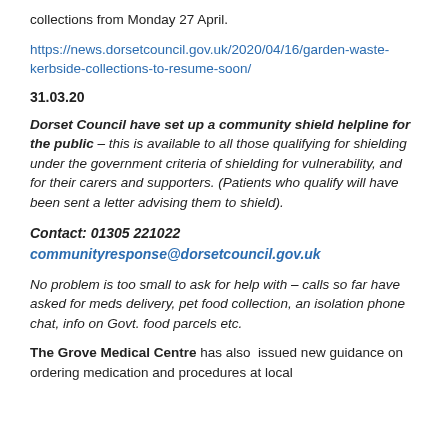collections from Monday 27 April.
https://news.dorsetcouncil.gov.uk/2020/04/16/garden-waste-kerbside-collections-to-resume-soon/
31.03.20
Dorset Council have set up a community shield helpline for the public – this is available to all those qualifying for shielding under the government criteria of shielding for vulnerability, and for their carers and supporters. (Patients who qualify will have been sent a letter advising them to shield).
Contact: 01305 221022
communityresponse@dorsetcouncil.gov.uk
No problem is too small to ask for help with – calls so far have asked for meds delivery, pet food collection, an isolation phone chat, info on Govt. food parcels etc.
The Grove Medical Centre has also issued new guidance on ordering medication and procedures at local